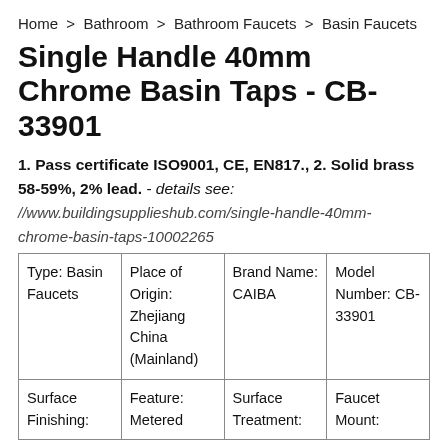Home > Bathroom > Bathroom Faucets > Basin Faucets
Single Handle 40mm Chrome Basin Taps - CB-33901
1. Pass certificate ISO9001, CE, EN817., 2. Solid brass 58-59%, 2% lead. - details see: //www.buildingsupplieshub.com/single-handle-40mm-chrome-basin-taps-10002265
| Type: Basin Faucets | Place of Origin: Zhejiang China (Mainland) | Brand Name: CAIBA | Model Number: CB-33901 |
| Surface Finishing: | Feature: Metered | Surface Treatment: | Faucet Mount: |